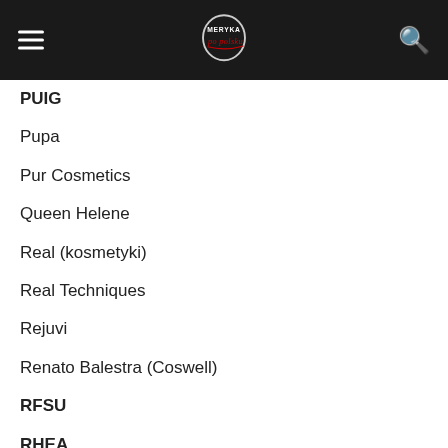Ameryka po polsku
PUIG
Pupa
Pur Cosmetics
Queen Helene
Real (kosmetyki)
Real Techniques
Rejuvi
Renato Balestra (Coswell)
RFSU
RHEA
Richards & Appleby
Rival de Loop (Rossmann)
Rockford (Coswell)
Sanoll
Sante
Scandia Cosmetics